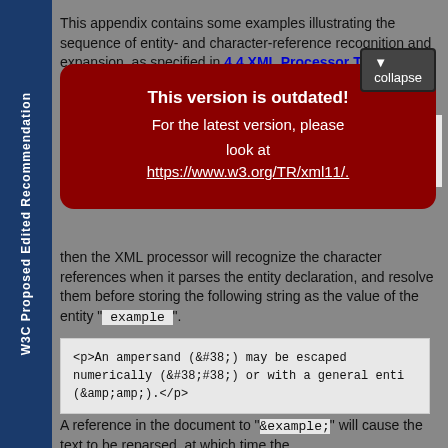W3C Proposed Edited Recommendation
This appendix contains some examples illustrating the sequence of entity- and character-reference recognition and expansion, as specified in 4.4 XML Processor Treatment of Entities and References.
[Figure (screenshot): Outdated version warning modal overlay with dark red background showing 'This version is outdated! For the latest version, please look at https://www.w3.org/TR/xml11/.' and a collapse button.]
then the XML processor will recognize the character references when it parses the entity declaration, and resolve them before storing the following string as the value of the entity " example ".
<p>An ampersand (&#38;) may be escaped numerically (&#38;#38;) or with a general entity (&amp;amp;).</p>
A reference in the document to " &example; " will cause the text to be reparsed, at which time the